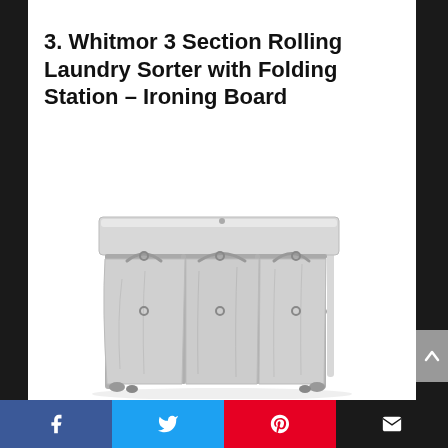3. Whitmor 3 Section Rolling Laundry Sorter with Folding Station – Ironing Board
[Figure (photo): Product photo of a Whitmor 3 Section Rolling Laundry Sorter with a folding station / ironing board on top. The unit has a silver metal frame with three grey fabric laundry bags below a flat grey folding/ironing surface.]
Facebook | Twitter | Pinterest | Email